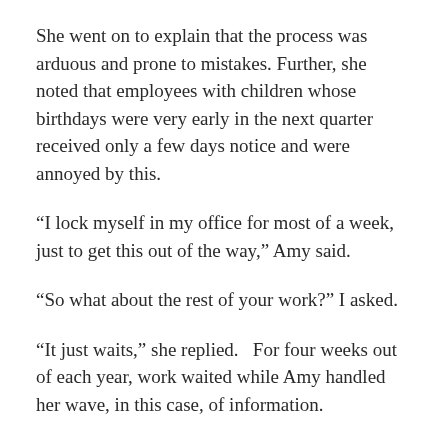She went on to explain that the process was arduous and prone to mistakes.  Further, she noted that employees with children whose birthdays were very early in the next quarter received only a few days notice and were annoyed by this.
“I lock myself in my office for most of a week, just to get this out of the way,” Amy said.
“So what about the rest of your work?” I asked.
“It just waits,” she replied.   For four weeks out of each year, work waited while Amy handled her wave, in this case, of information.
“Why do you do this quarterly?”  I inquired.  “Why not more frequently?”
Amy responded, “We’ve always done it this way,” then